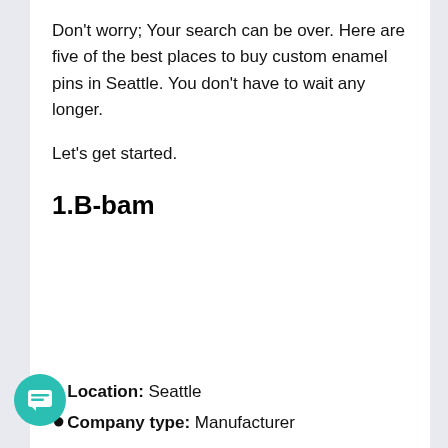Don't worry; Your search can be over. Here are five of the best places to buy custom enamel pins in Seattle. You don't have to wait any longer.
Let's get started.
1.B-bam
[Figure (photo): Image placeholder area for B-bam section]
Location: Seattle
Company type: Manufacturer
b-bam is a Seattle-based promotional customization and printing service. For custom